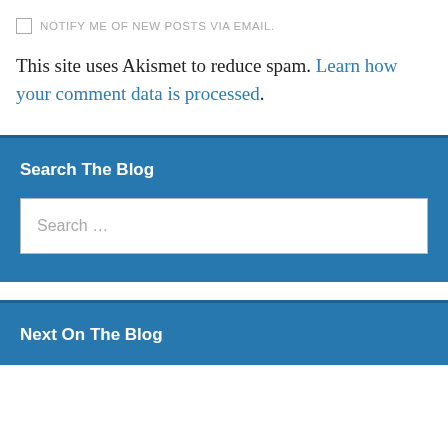NOTIFY ME OF NEW POSTS VIA EMAIL.
This site uses Akismet to reduce spam. Learn how your comment data is processed.
Search The Blog
Search ...
Next On The Blog